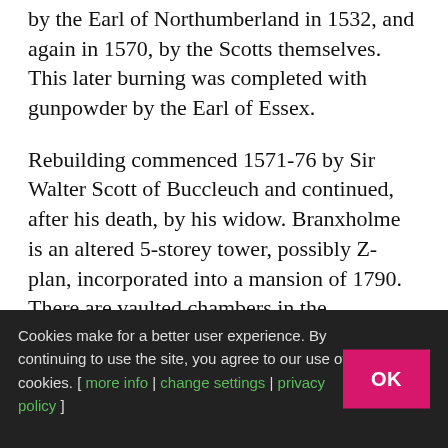by the Earl of Northumberland in 1532, and again in 1570, by the Scotts themselves. This later burning was completed with gunpowder by the Earl of Essex.
Rebuilding commenced 1571-76 by Sir Walter Scott of Buccleuch and continued, after his death, by his widow. Branxholme is an altered 5-storey tower, possibly Z-plan, incorporated into a mansion of 1790. There are vaulted chambers in the basement, and a newel stair, but the interior is greatly altered.
A family with reiver history, and often Wardens of the Middle March, the Scotts became lords in 1606,
Cookies make for a better user experience. By continuing to use the site, you agree to our use of cookies. [ more info | change settings | privacy policy ]